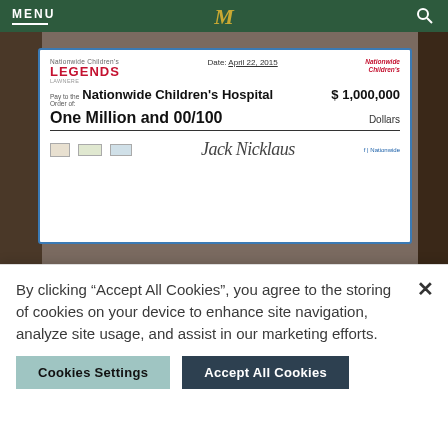MENU
[Figure (photo): Photo of people holding a giant check made out to Nationwide Children's Hospital for $1,000,000, dated April 22, 2015. Check shows 'One Million and 00/100 Dollars'. Legends lawnere branding visible.]
Pictured left to right: Steve Rasmussen (CEO, Nationwide), Steve Allen, MD (CEO, Nationwide Children's Hospital), Jack Nicklaus
By clicking “Accept All Cookies”, you agree to the storing of cookies on your device to enhance site navigation, analyze site usage, and assist in our marketing efforts.
Cookies Settings   Accept All Cookies